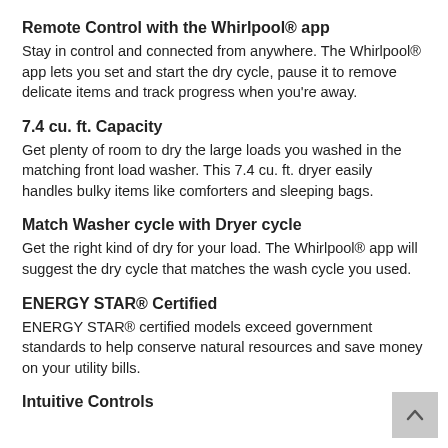Remote Control with the Whirlpool® app
Stay in control and connected from anywhere. The Whirlpool® app lets you set and start the dry cycle, pause it to remove delicate items and track progress when you're away.
7.4 cu. ft. Capacity
Get plenty of room to dry the large loads you washed in the matching front load washer. This 7.4 cu. ft. dryer easily handles bulky items like comforters and sleeping bags.
Match Washer cycle with Dryer cycle
Get the right kind of dry for your load. The Whirlpool® app will suggest the dry cycle that matches the wash cycle you used.
ENERGY STAR® Certified
ENERGY STAR® certified models exceed government standards to help conserve natural resources and save money on your utility bills.
Intuitive Controls